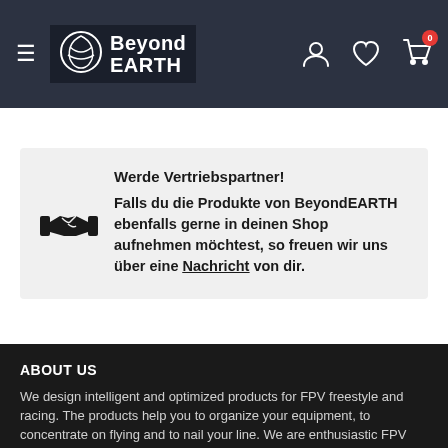Beyond EARTH — navigation header with hamburger menu, logo, user icon, wishlist icon, cart icon (badge: 0)
Werde Vertriebspartner!
Falls du die Produkte von BeyondEARTH ebenfalls gerne in deinen Shop aufnehmen möchtest, so freuen wir uns über eine Nachricht von dir.
ABOUT US
We design intelligent and optimized products for FPV freestyle and racing. The products help you to organize your equipment, to concentrate on flying and to nail your line. We are enthusiastic FPV